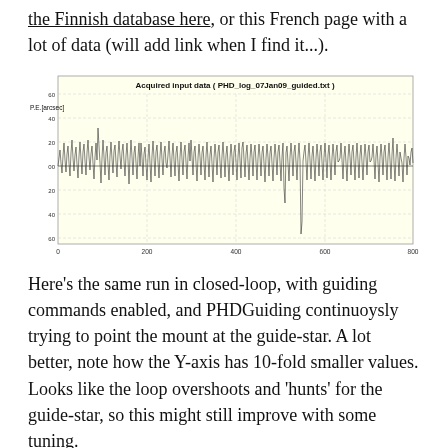the Finnish database here, or this French page with a lot of data (will add link when I find it...).
[Figure (continuous-plot): Time series plot titled 'Acquired input data ( PHD_log_07Jan09_guided.txt )'. Y-axis labeled 'P.E.[arcsec]' ranging from -60 to 60 with gridlines at -60, -40, -20, 00, 20, 40, 60. X-axis ranges from 0 to 800. The plot shows dense oscillating data with large amplitude variations, representing periodic error measurements.]
Here's the same run in closed-loop, with guiding commands enabled, and PHDGuiding continuoysly trying to point the mount at the guide-star. A lot better, note how the Y-axis has 10-fold smaller values. Looks like the loop overshoots and 'hunts' for the guide-star, so this might still improve with some tuning.
With my Canon 20D on my imaging scope, an 80mm f=600mm refractor, this field of view calculator